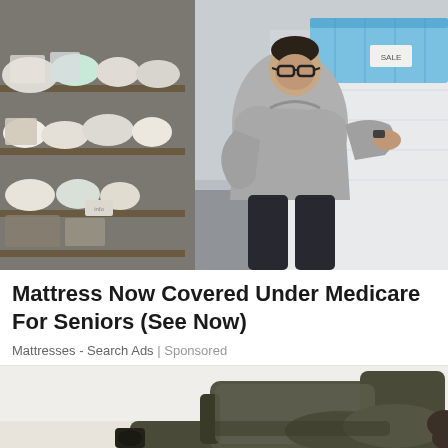[Figure (photo): A man in a gray hoodie and glasses examining or making a mattress in a retail store, with shelves of bedding products visible on the left and a large white/gray mattress on the right, blue mattresses wrapped in plastic behind.]
Mattress Now Covered Under Medicare For Seniors (See Now)
Mattresses - Search Ads | Sponsored
[Figure (photo): Bottom portion of an image showing a person reclining in a dark olive/brown recliner chair, legs visible in the foreground.]